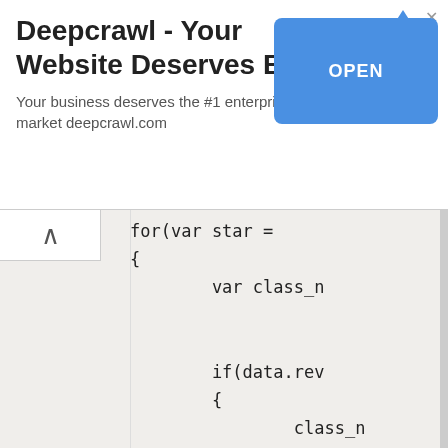[Figure (screenshot): Advertisement banner for Deepcrawl with title 'Deepcrawl - Your Website Deserves Better', subtitle text, and an OPEN button]
Deepcrawl - Your Website Deserves Better
Your business deserves the #1 enterprise-level solution in the market deepcrawl.com
[Figure (screenshot): Code editor screenshot showing JavaScript code with for loop, if/else block, variable declarations (var class_n, var star), html concatenation, rendered in monospace font on light beige background]